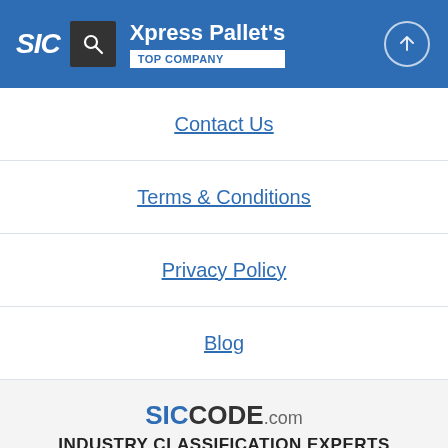Xpress Pallet's TOP COMPANY
Contact Us
Terms & Conditions
Privacy Policy
Blog
SICCODE.com INDUSTRY CLASSIFICATION EXPERTS Copyright 2022 © SICCODE.com